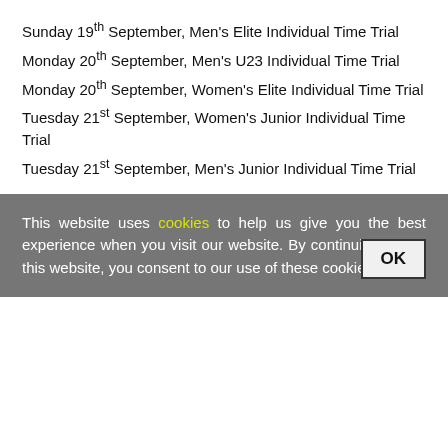Sunday 19th September, Men's Elite Individual Time Trial
Monday 20th September, Men's U23 Individual Time Trial
Monday 20th September, Women's Elite Individual Time Trial
Tuesday 21st September, Women's Junior Individual Time Trial
Tuesday 21st September, Men's Junior Individual Time Trial
This website uses cookies to help us give you the best experience when you visit our website. By continuing to use this website, you consent to our use of these cookies.